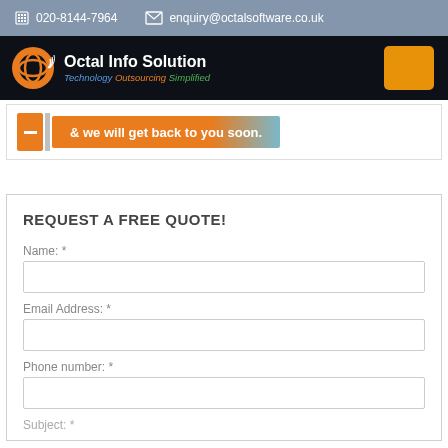020-8144-7964   enquiry@octalsoftware.co.uk
[Figure (logo): Octal Info Solution logo with orange spiral globe icon and tagline: Technology Outsourcing Simplified]
& we will get back to you soon.
REQUEST A FREE QUOTE!
Name: *
Email Address: *
Phone number: *
Subject: *